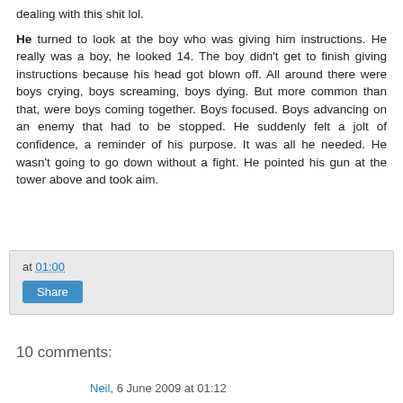dealing with this shit lol.
He turned to look at the boy who was giving him instructions. He really was a boy, he looked 14. The boy didn't get to finish giving instructions because his head got blown off. All around there were boys crying, boys screaming, boys dying. But more common than that, were boys coming together. Boys focused. Boys advancing on an enemy that had to be stopped. He suddenly felt a jolt of confidence, a reminder of his purpose. It was all he needed. He wasn't going to go down without a fight. He pointed his gun at the tower above and took aim.
at 01:00
Share
10 comments:
Neil, 6 June 2009 at 01:12